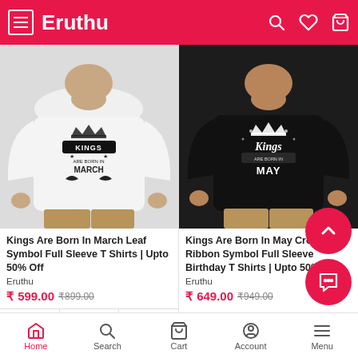Eruthu
[Figure (photo): Man wearing white long sleeve sweatshirt with 'Kings Are Born In March' leaf symbol print]
[Figure (photo): Man wearing black long sleeve sweatshirt with 'Kings Are Born In May' crown ribbon symbol print]
Kings Are Born In March Leaf Symbol Full Sleeve T Shirts | Upto 50% Off
Eruthu
₹ 599.00 ₹899.00
Kings Are Born In May Crown Ribbon Symbol Full Sleeve Birthday T Shirts | Upto 50% Off
Eruthu
₹ 649.00 ₹949.00
Home  Search  Cart  Account  Menu